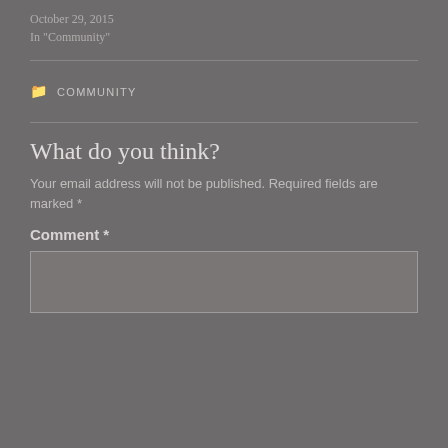October 29, 2015
In "Community"
COMMUNITY
What do you think?
Your email address will not be published. Required fields are marked *
Comment *